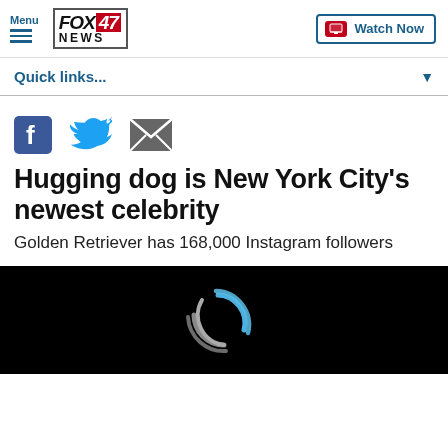Menu | FOX 47 NEWS | Watch Now
Quick links...
[Figure (screenshot): Social share icons: Facebook, Twitter, Email]
Hugging dog is New York City's newest celebrity
Golden Retriever has 168,000 Instagram followers
[Figure (screenshot): Black video player area with loading spinner arcs (blue and grey)]